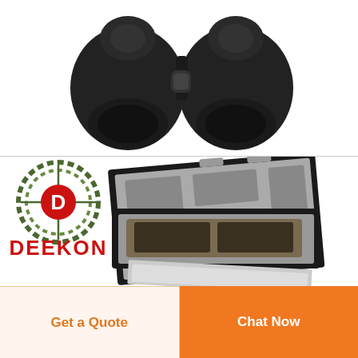[Figure (photo): Close-up top view of black binoculars against a white background]
[Figure (photo): DEEKON brand logo (green camo circle with red D) and text DEEKON in red, alongside an open black briefcase/attache case showing gray interior]
[Figure (logo): DEEKON logo: green camouflage circular target with red D letter inside, and red bold text DEEKON below]
Get a Quote
Chat Now